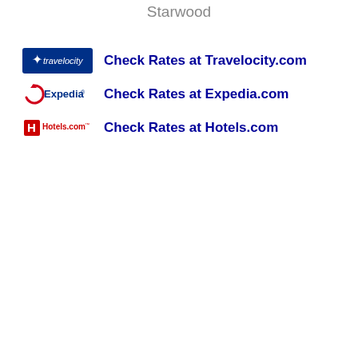Starwood
Check Rates at Travelocity.com
Check Rates at Expedia.com
Check Rates at Hotels.com